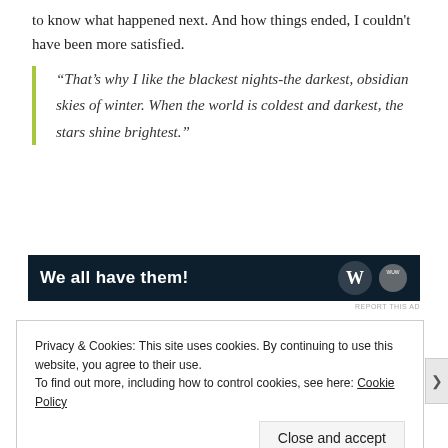to know what happened next. And how things ended, I couldn't have been more satisfied.
“That’s why I like the blackest nights-the darkest, obsidian skies of winter. When the world is coldest and darkest, the stars shine brightest.”
[Figure (other): Advertisement banner with dark navy background reading 'We all have them!' with a logo on the right side]
REPORT THIS AD
Privacy & Cookies: This site uses cookies. By continuing to use this website, you agree to their use.
To find out more, including how to control cookies, see here: Cookie Policy
Close and accept